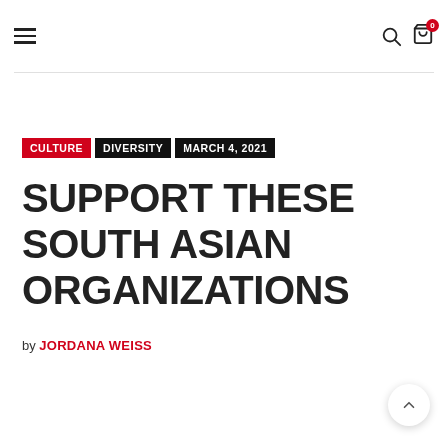≡  [search icon]  [bag icon with badge 0]
CULTURE  DIVERSITY  MARCH 4, 2021
SUPPORT THESE SOUTH ASIAN ORGANIZATIONS
by JORDANA WEISS